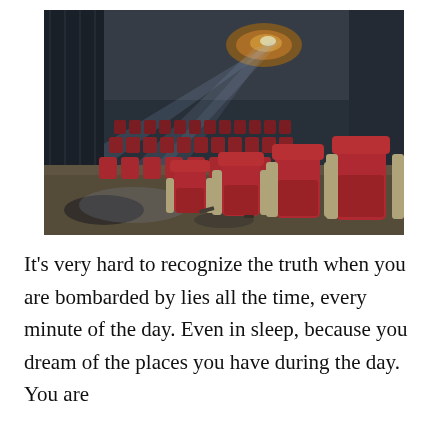[Figure (photo): An abandoned or decaying cinema/theater interior with rows of red seats, a crumbling ceiling with a beam of light shining through a hole, dusty concrete floor, and dark atmospheric lighting.]
It's very hard to recognize the truth when you are bombarded by lies all the time, every minute of the day. Even in sleep, because you dream of the places you have during the day. You are